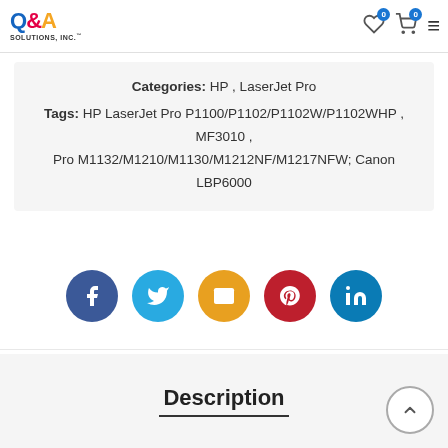Q&A Solutions, Inc. — navigation header with wishlist (0), cart (0), and menu icons
Categories: HP , LaserJet Pro
Tags: HP LaserJet Pro P1100/P1102/P1102W/P1102WHP , MF3010 , Pro M1132/M1210/M1130/M1212NF/M1217NFW; Canon LBP6000
[Figure (infographic): Social sharing buttons row: Facebook (dark blue), Twitter (light blue), Email (orange), Pinterest (dark red), LinkedIn (teal blue)]
Description